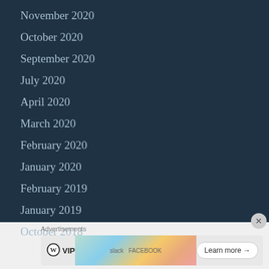November 2020
October 2020
September 2020
July 2020
April 2020
March 2020
February 2020
January 2020
February 2019
January 2019
October 2018
Advertisements
[Figure (other): WordPress VIP advertisement banner with Learn more button]